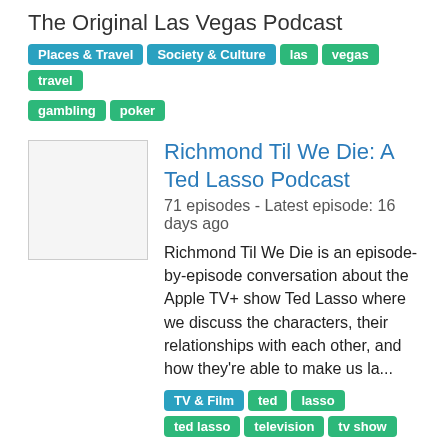The Original Las Vegas Podcast
Places & Travel, Society & Culture, las, vegas, travel, gambling, poker
Richmond Til We Die: A Ted Lasso Podcast
71 episodes - Latest episode: 16 days ago
Richmond Til We Die is an episode-by-episode conversation about the Apple TV+ show Ted Lasso where we discuss the characters, their relationships with each other, and how they're able to make us la...
TV & Film, ted, lasso, ted lasso, television, tv show
[Figure (photo): Podcast thumbnail for Tales of Taboo showing a person in festive attire]
Tales of Taboo
253 episodes - Latest episode: about 1 month ago
Tales of Taboo is an ANONYMOUS confessions show investigating - and celebrating - what happens behind closed doors. Native New York performer & writer Ali Weiss (as seen on Vice)